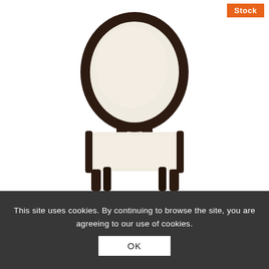[Figure (photo): A dining side chair with dark espresso/dark walnut wood frame featuring an oval padded back upholstered in cream/off-white fabric and a square padded seat in matching cream fabric, with four straight dark wood legs, photographed on a white background.]
Stock
This site uses cookies. By continuing to browse the site, you are agreeing to our use of cookies.
OK